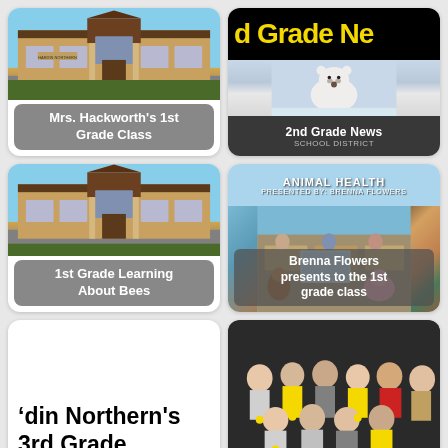[Figure (photo): School building exterior photo - Mrs. Hackworth's 1st Grade Class card with gray label overlay]
[Figure (photo): 2nd Grade News card with black header showing yellow text '2nd Grade Ne...' and polar bear image below]
[Figure (photo): School building exterior photo - 1st Grade Learning About Bees card with gray label overlay]
[Figure (photo): Animal Health presentation card with classroom photo and Brenna Flowers overlay text]
[Figure (photo): Hardin Northern's 3rd Grade text card with large bold black text partially cut off]
[Figure (photo): Group photo of children with medals on dark background]